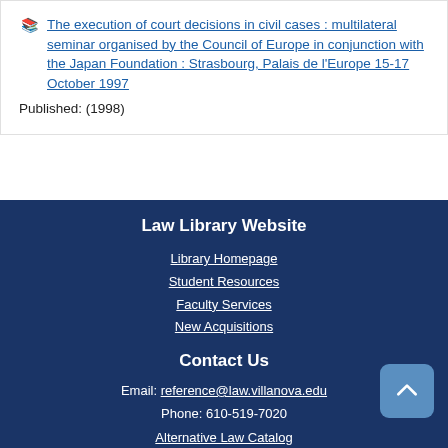The execution of court decisions in civil cases : multilateral seminar organised by the Council of Europe in conjunction with the Japan Foundation : Strasbourg, Palais de l'Europe 15-17 October 1997
Published: (1998)
Law Library Website
Library Homepage
Student Resources
Faculty Services
New Acquisitions
Contact Us
Email: reference@law.villanova.edu
Phone: 610-519-7020
Alternative Law Catalog
Law School Links